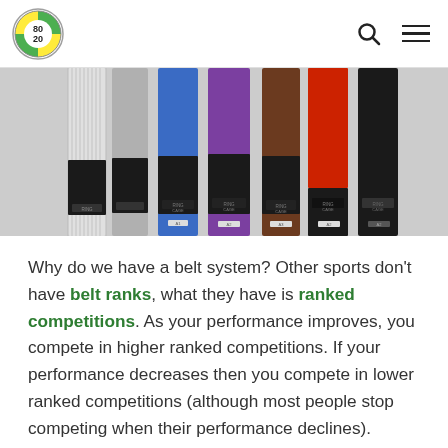80/20 Jiu Jitsu logo with search and menu icons
[Figure (photo): Row of Brazilian Jiu-Jitsu belts in various colors (white, grey, blue, purple, brown, red/black) displayed vertically side by side, each with a black tag at the end labeled 'RING CAGE']
Why do we have a belt system? Other sports don't have belt ranks, what they have is ranked competitions. As your performance improves, you compete in higher ranked competitions. If your performance decreases then you compete in lower ranked competitions (although most people stop competing when their performance declines).